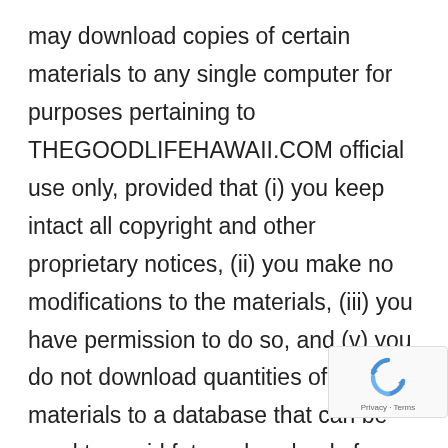may download copies of certain materials to any single computer for purposes pertaining to THEGOODLIFEHAWAII.COM official use only, provided that (i) you keep intact all copyright and other proprietary notices, (ii) you make no modifications to the materials, (iii) you have permission to do so, and (v) you do not download quantities of materials to a database that can be used to avoid future downloads from any THEGOODLIFEHAWAII.COM Site. The use of any
[Figure (other): reCAPTCHA badge with recycling-style arrow icon and 'Privacy - Terms' text]